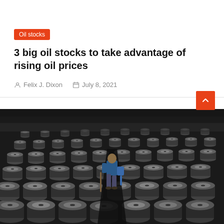[Figure (photo): Top partial image showing desert/sandy landscape in warm brown tones]
Oil stocks
3 big oil stocks to take advantage of rising oil prices
Felix J. Dixon   July 8, 2021
[Figure (photo): A worker walking among rows of oil barrels/drums arranged in curved patterns, viewed from behind, holding equipment]